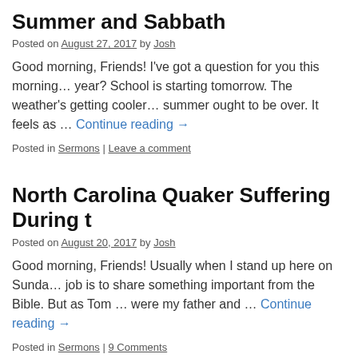Summer and Sabbath
Posted on August 27, 2017 by Josh
Good morning, Friends! I've got a question for you this morning… year? School is starting tomorrow. The weather's getting cooler… summer ought to be over. It feels as … Continue reading →
Posted in Sermons | Leave a comment
North Carolina Quaker Suffering During t
Posted on August 20, 2017 by Josh
Good morning, Friends! Usually when I stand up here on Sunda… job is to share something important from the Bible. But as Tom … were my father and … Continue reading →
Posted in Sermons | 9 Comments
You can run, but you can't hide